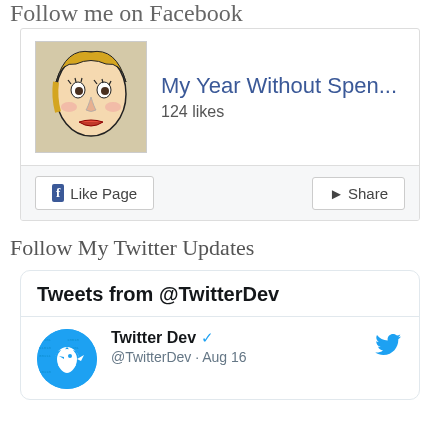Follow me on Facebook
[Figure (screenshot): Facebook Like Page widget showing 'My Year Without Spen...' page with 124 likes and Like Page / Share buttons]
Follow My Twitter Updates
[Figure (screenshot): Twitter widget showing 'Tweets from @TwitterDev' header and a tweet from Twitter Dev (@TwitterDev) dated Aug 16]